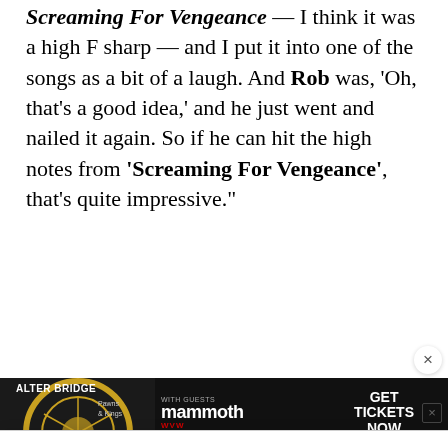Screaming For Vengeance — I think it was a high F sharp — and I put it into one of the songs as a bit of a laugh. And Rob was, 'Oh, that's a good idea,' and he just went and nailed it again. So if he can hit the high notes from 'Screaming For Vengeance', that's quite impressive."
Sneap went on to credit Tipton for being the creative driving force behind JUDAS PRIEST.
This website uses cookies and other tracking technologies to enhance user experience and to analyze performance and traffic on our website. Information about your use of our site may also be shared with social media, advertising, retail and analytics providers and partners. Privacy Policy
[Figure (other): Advertisement banner for Alter Bridge Pawns & Kings tour with Mammoth WVW guests, promoting ticket sales]